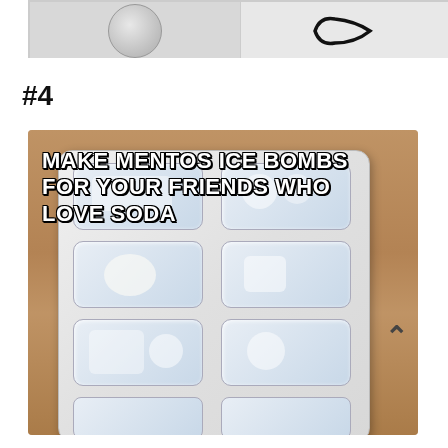[Figure (photo): Top portion of a previous list item showing two side-by-side photos with a border — left shows a circular object and right shows a black curved/oval shape, partially cropped at top of page]
#4
[Figure (photo): Photo of a white ice cube tray with Mentos candies frozen inside each compartment, placed on a wooden surface. White bold text overlay reads: MAKE MENTOS ICE BOMBS FOR YOUR FRIENDS WHO LOVE SODA]